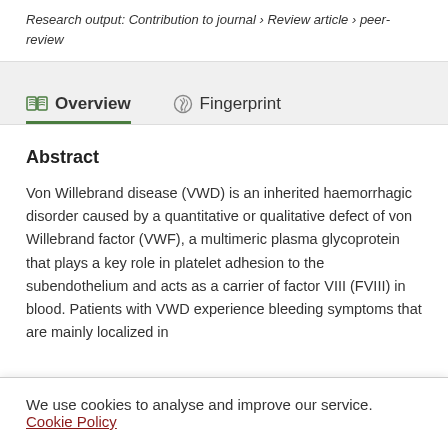Research output: Contribution to journal › Review article › peer-review
Overview   Fingerprint
Abstract
Von Willebrand disease (VWD) is an inherited haemorrhagic disorder caused by a quantitative or qualitative defect of von Willebrand factor (VWF), a multimeric plasma glycoprotein that plays a key role in platelet adhesion to the subendothelium and acts as a carrier of factor VIII (FVIII) in blood. Patients with VWD experience bleeding symptoms that are mainly localized in
We use cookies to analyse and improve our service. Cookie Policy